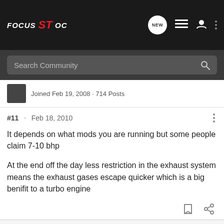FOCUS ST OC
Search Community
Joined Feb 19, 2008 · 714 Posts
#11 · Feb 18, 2010
It depends on what mods you are running but some people claim 7-10 bhp
At the end off the day less restriction in the exhaust system means the exhaust gases escape quicker which is a big benifit to a turbo engine
Ginno78 · Registered
Joined Apr 30, 2009 · 293 Posts